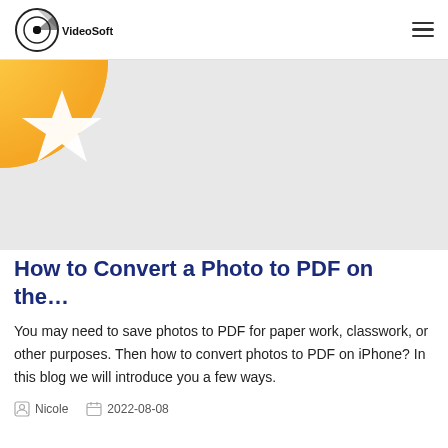VideoSoft
[Figure (illustration): Hero banner image with gray background, partially visible circular orange/yellow badge with a white star in the upper left corner]
How to Convert a Photo to PDF on the…
You may need to save photos to PDF for paper work, classwork, or other purposes. Then how to convert photos to PDF on iPhone? In this blog we will introduce you a few ways.
Nicole   2022-08-08